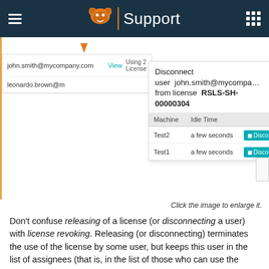Support
[Figure (screenshot): Screenshot of a support portal showing a user list with john.smith@mycompany.com and leonardo.brown@..., and a 'Disconnect user john.smith@mycompa... from license RSLS-SH-00000304' popup dialog with a table showing Machine (Test2, Test1), Idle Time (a few seconds, a few seconds), and Disco[nnect] buttons. An orange arrow points to the first row.]
Click the image to enlarge it.
Don’t confuse releasing of a license (or disconnecting a user) with license revoking. Releasing (or disconnecting) terminates the use of the license by some user, but keeps this user in the list of assignees (that is, in the list of those who can use the product). Revoking removes a user from this list.